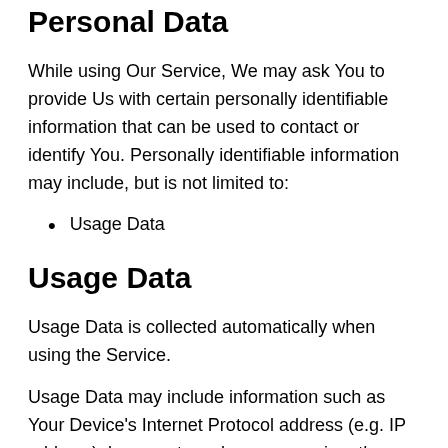Personal Data
While using Our Service, We may ask You to provide Us with certain personally identifiable information that can be used to contact or identify You. Personally identifiable information may include, but is not limited to:
Usage Data
Usage Data
Usage Data is collected automatically when using the Service.
Usage Data may include information such as Your Device's Internet Protocol address (e.g. IP address), browser type, browser version, the pages of our Service that You visit, the time and date of Your visit, the time spent on those pages, unique device identifiers and other diagnostic data.